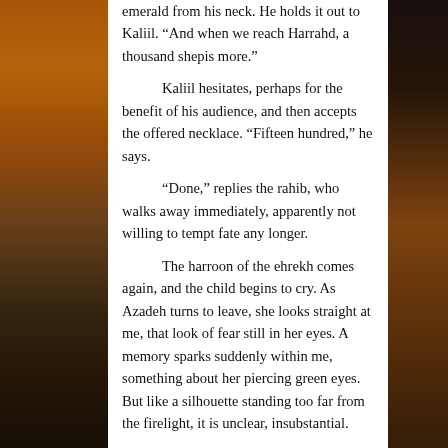emerald from his neck. He holds it out to Kaliil. “And when we reach Harrahd, a thousand shepis more.”

Kaliil hesitates, perhaps for the benefit of his audience, and then accepts the offered necklace. “Fifteen hundred,” he says.

“Done,” replies the rahib, who walks away immediately, apparently not willing to tempt fate any longer.

The harroon of the ehrekh comes again, and the child begins to cry. As Azadeh turns to leave, she looks straight at me, that look of fear still in her eyes. A memory sparks suddenly within me, something about her piercing green eyes. But like a silhouette standing too far from the firelight, it is unclear, insubstantial.

A time passes and...